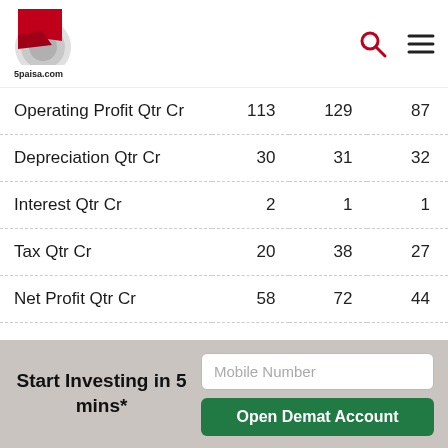5paisa.com
|  |  |  |  |
| --- | --- | --- | --- |
| Operating Profit Qtr Cr | 113 | 129 | 87 |
| Depreciation Qtr Cr | 30 | 31 | 32 |
| Interest Qtr Cr | 2 | 1 | 1 |
| Tax Qtr Cr | 20 | 38 | 27 |
| Net Profit Qtr Cr | 58 | 72 | 44 |
Gujarat Pipavav Port Technicals
EMA & SMA
Current Price
Start Investing in 5 mins*
Mobile Number
Open Demat Account